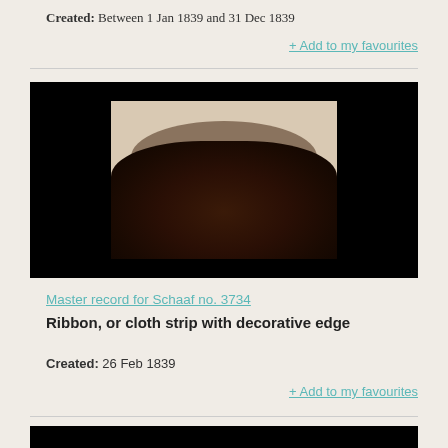Created: Between 1 Jan 1839 and 31 Dec 1839
+ Add to my favourites
[Figure (photo): Photographic image of a ribbon or cloth strip with decorative edge, shown against a black background. The image shows a dark brown object on a pale/cream coloured background.]
Master record for Schaaf no. 3734
Ribbon, or cloth strip with decorative edge
Created: 26 Feb 1839
+ Add to my favourites